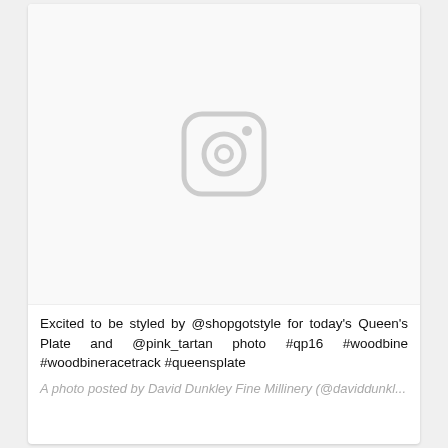[Figure (photo): Placeholder Instagram image area with a light gray background and a gray Instagram camera icon in the center]
Excited to be styled by @shopgotstyle for today's Queen's Plate and @pink_tartan photo #qp16 #woodbine #woodbineracetrack #queensplate
A photo posted by David Dunkley Fine Millinery (@daviddunkl...